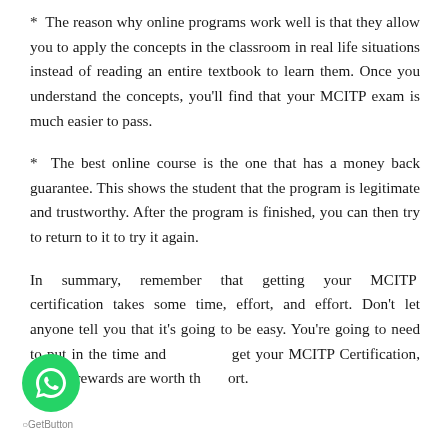* The reason why online programs work well is that they allow you to apply the concepts in the classroom in real life situations instead of reading an entire textbook to learn them. Once you understand the concepts, you'll find that your MCITP exam is much easier to pass.
* The best online course is the one that has a money back guarantee. This shows the student that the program is legitimate and trustworthy. After the program is finished, you can then try to return to it to try it again.
In summary, remember that getting your MCITP certification takes some time, effort, and effort. Don't let anyone tell you that it's going to be easy. You're going to need to put in the time and effort to get your MCITP Certification, but the rewards are worth the effort.